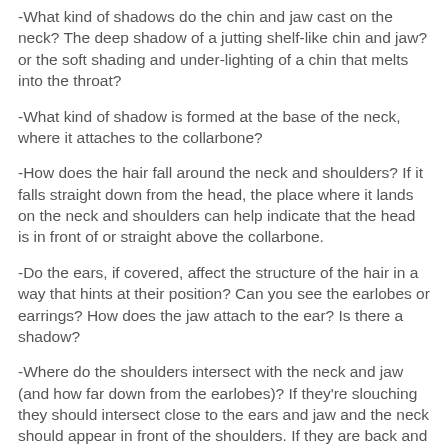-What kind of shadows do the chin and jaw cast on the neck? The deep shadow of a jutting shelf-like chin and jaw? or the soft shading and under-lighting of a chin that melts into the throat?
-What kind of shadow is formed at the base of the neck, where it attaches to the collarbone?
-How does the hair fall around the neck and shoulders? If it falls straight down from the head, the place where it lands on the neck and shoulders can help indicate that the head is in front of or straight above the collarbone.
-Do the ears, if covered, affect the structure of the hair in a way that hints at their position? Can you see the earlobes or earrings? How does the jaw attach to the ear? Is there a shadow?
-Where do the shoulders intersect with the neck and jaw (and how far down from the earlobes)? If they're slouching they should intersect close to the ears and jaw and the neck should appear in front of the shoulders. If they are back and straight, it'll be more visible at the base of the neck.